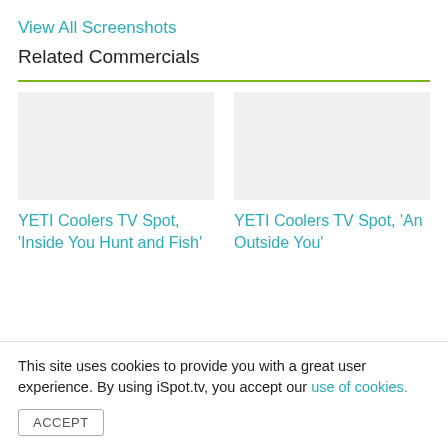View All Screenshots
Related Commercials
YETI Coolers TV Spot, 'Inside You Hunt and Fish'
YETI Coolers TV Spot, 'An Outside You'
This site uses cookies to provide you with a great user experience. By using iSpot.tv, you accept our use of cookies.